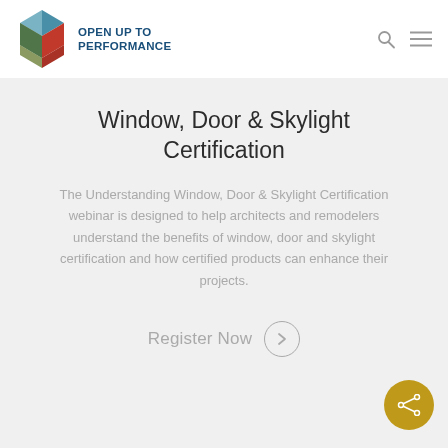[Figure (logo): Geometric 3D cube logo made of colored facets (teal, blue, dark olive, red-orange) for 'Open Up to Performance']
OPEN UP TO PERFORMANCE
Window, Door & Skylight Certification
The Understanding Window, Door & Skylight Certification webinar is designed to help architects and remodelers understand the benefits of window, door and skylight certification and how certified products can enhance their projects.
Register Now